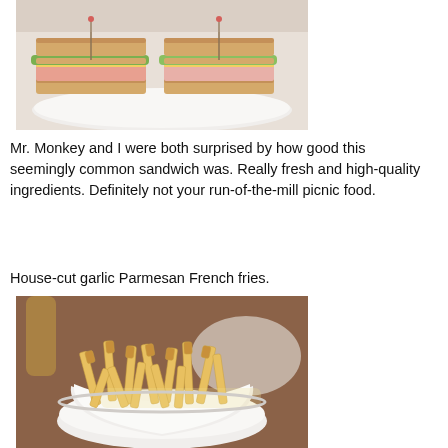[Figure (photo): A club sandwich cut in half and displayed on a white plate, showing layers of bread, turkey/ham, cheese, lettuce, and bacon.]
Mr. Monkey and I were both surprised by how good this seemingly common sandwich was. Really fresh and high-quality ingredients. Definitely not your run-of-the-mill picnic food.
House-cut garlic Parmesan French fries.
[Figure (photo): A white bowl filled with house-cut garlic Parmesan French fries, golden and crispy, sitting on a wooden table.]